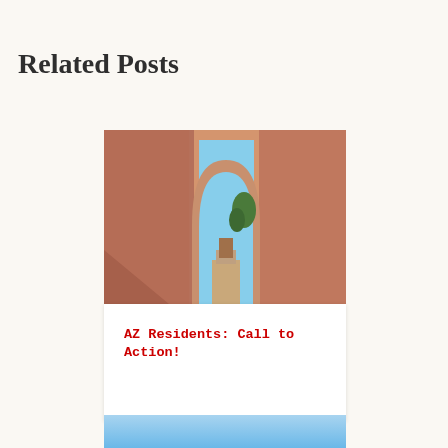Related Posts
[Figure (photo): Photograph of a Southwestern adobe-style building with a large arched passageway/tunnel leading to a courtyard with trees visible in the background. Warm terracotta/reddish-brown stucco walls.]
AZ Residents: Call to Action!
[Figure (photo): Partial view of a second post card showing a blue sky background, cropped at the bottom of the page.]